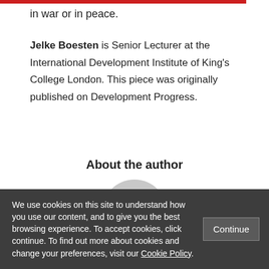in war or in peace.
Jelke Boesten is Senior Lecturer at the International Development Institute of King's College London. This piece was originally published on Development Progress.
About the author
[Figure (illustration): Generic gray user avatar/profile placeholder icon — a circular silhouette with a round head and rounded shoulders in light gray]
We use cookies on this site to understand how you use our content, and to give you the best browsing experience. To accept cookies, click continue. To find out more about cookies and change your preferences, visit our Cookie Policy.